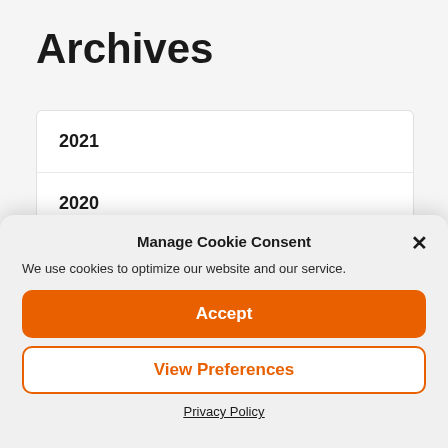Archives
2021
2020
Manage Cookie Consent
We use cookies to optimize our website and our service.
Accept
View Preferences
Privacy Policy